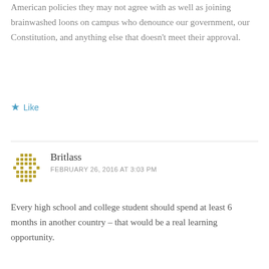American policies they may not agree with as well as joining brainwashed loons on campus who denounce our government, our Constitution, and anything else that doesn't meet their approval.
★ Like
[Figure (illustration): Avatar icon for user Britlass - decorative dot-matrix style pattern in olive/gold color]
Britlass
FEBRUARY 26, 2016 AT 3:03 PM
Every high school and college student should spend at least 6 months in another country – that would be a real learning opportunity.